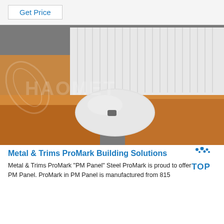Get Price
[Figure (photo): Packaged metal/steel panels (PM Panel) wrapped in plastic on a wooden pallet, with HAOMET watermark overlay]
[Figure (logo): TOP logo with blue water droplet dots above the letters]
Metal & Trims ProMark Building Solutions
Metal & Trims ProMark "PM Panel" Steel ProMark is proud to offer PM Panel. ProMark PM Panel is manufactured from 815...